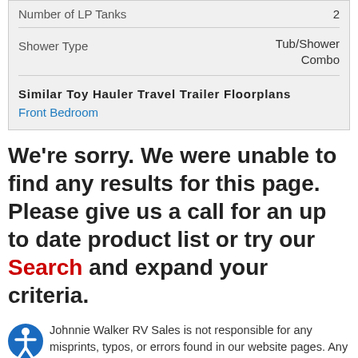| Spec | Value |
| --- | --- |
| Number of LP Tanks | 2 |
| Shower Type | Tub/Shower Combo |
Similar Toy Hauler Travel Trailer Floorplans
Front Bedroom
We're sorry. We were unable to find any results for this page. Please give us a call for an up to date product list or try our Search and expand your criteria.
Johnnie Walker RV Sales is not responsible for any misprints, typos, or errors found in our website pages. Any price listed excludes sales tax, registration tags, and delivery fees. Manufacturer pictures, specifications, and features may be used in place of actual units on our